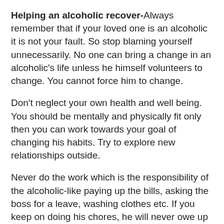Helping an alcoholic recover- Always remember that if your loved one is an alcoholic it is not your fault. So stop blaming yourself unnecessarily. No one can bring a change in an alcoholic's life unless he himself volunteers to change. You cannot force him to change.
Don't neglect your own health and well being. You should be mentally and physically fit only then you can work towards your goal of changing his habits. Try to explore new relationships outside.
Never do the work which is the responsibility of the alcoholic-like paying up the bills, asking the boss for a leave, washing clothes etc. If you keep on doing his chores, he will never owe up his own responsibilities.
Never shout at the alcoholic or fight with him, or else he may become even more harsh. Be polite and courteous as if nothing has happened. So don't create situations which make it even harder for him to